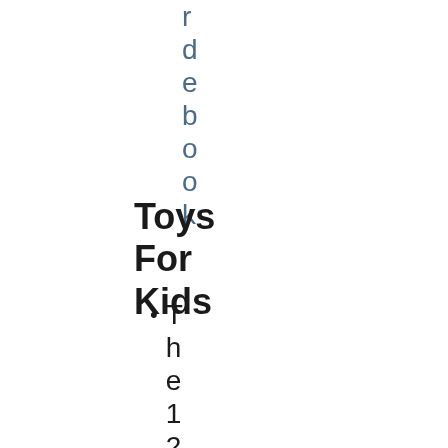debook
Toys For Kids
The 12 be